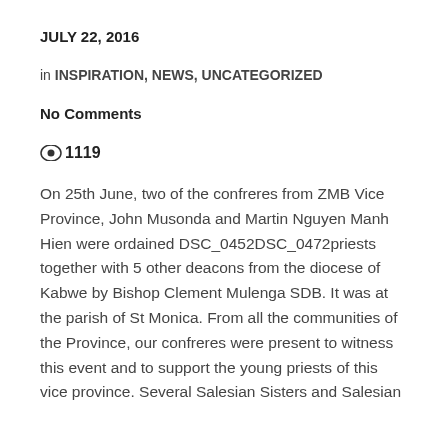JULY 22, 2016
in INSPIRATION, NEWS, UNCATEGORIZED
No Comments
👁1119
On 25th June, two of the confreres from ZMB Vice Province, John Musonda and Martin Nguyen Manh Hien were ordained DSC_0452DSC_0472priests together with 5 other deacons from the diocese of Kabwe by Bishop Clement Mulenga SDB. It was at the parish of St Monica. From all the communities of the Province, our confreres were present to witness this event and to support the young priests of this vice province. Several Salesian Sisters and Salesian